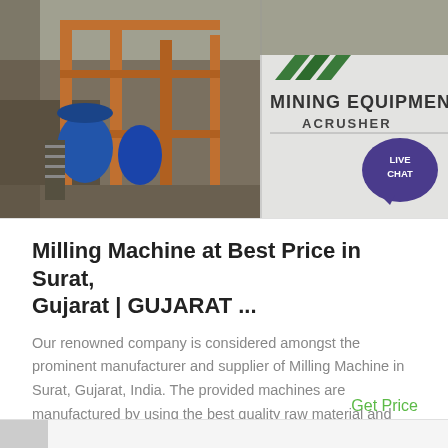[Figure (photo): Mining equipment / milling machine setup at an outdoor industrial site with orange scaffolding and machinery visible. Overlay shows 'MINING EQUIPMENT ACRUSHER' branding with green diagonal stripes and a 'LIVE CHAT' speech bubble icon.]
Milling Machine at Best Price in Surat, Gujarat | GUJARAT ...
Our renowned company is considered amongst the prominent manufacturer and supplier of Milling Machine in Surat, Gujarat, India. The provided machines are manufactured by using the best quality raw material and modern technology. These machines are tested by our skilled quality experts in several quality parameters which is laid by the industries.
Get Price